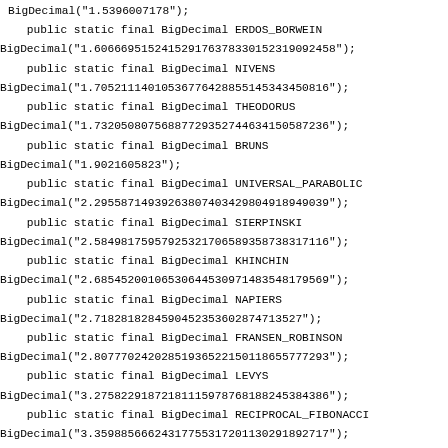BigDecimal("1.5396007178");
    public static final BigDecimal ERDOS_BORWEIN
BigDecimal("1.6066695152415291763783301523190924​58");
    public static final BigDecimal NIVENS
BigDecimal("1.7052111401053677642885514534345081​6");
    public static final BigDecimal THEODORUS
BigDecimal("1.7320508075688772935274463415058723​6");
    public static final BigDecimal BRUNS
BigDecimal("1.9021605823");
    public static final BigDecimal UNIVERSAL_PARABOLIC
BigDecimal("2.2955871493926380740342980491894903​9");
    public static final BigDecimal SIERPINSKI
BigDecimal("2.5849817595792532170658935873831711​6");
    public static final BigDecimal KHINCHIN
BigDecimal("2.6854520010653064453097148354817956​9");
    public static final BigDecimal NAPIERS
BigDecimal("2.7182818284590452353602874713527");
    public static final BigDecimal FRANSEN_ROBINSON
BigDecimal("2.8077702420285193652215011865577729​3");
    public static final BigDecimal LEVYS
BigDecimal("3.2758229187218111597876818824538438​6");
    public static final BigDecimal RECIPROCAL_FIBONACCI
BigDecimal("3.3598856662431775531720113029189271​7");
    public static final BigDecimal GRAVITY
BigDecimal("32.17404856"); // ft/sec^2

    public static final BigDecimal NEAR_ONE
BigDecimal("0.9999999999999999999999999999999999​9999999
9999999999999999999999999999999999999999999999999999999
9999999999999999999999999999999999999999999999999999999